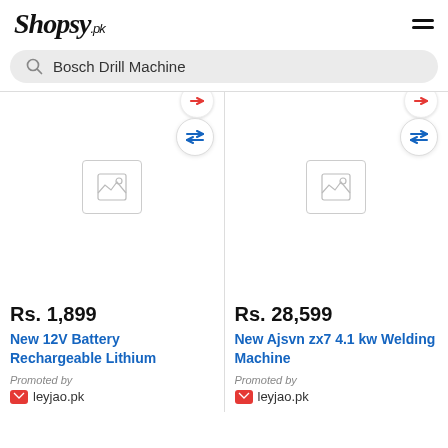Shopsy.pk
Bosch Drill Machine
Rs. 1,899
New 12V Battery Rechargeable Lithium
Promoted by leyjao.pk
Rs. 28,599
New Ajsvn zx7 4.1 kw Welding Machine
Promoted by leyjao.pk